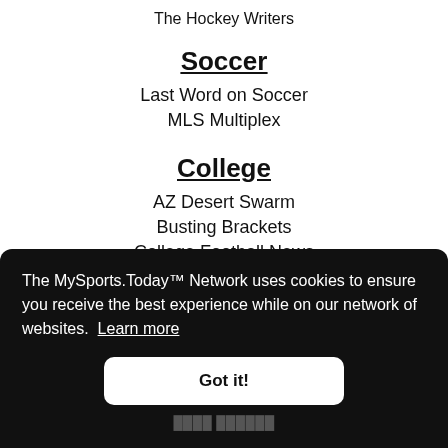The Hockey Writers
Soccer
Last Word on Soccer
MLS Multiplex
College
AZ Desert Swarm
Busting Brackets
College Football News
The MySports.Today™ Network uses cookies to ensure you receive the best experience while on our network of websites. Learn more
Got it!